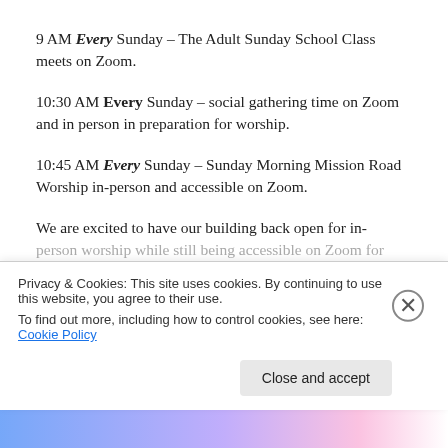9 AM Every Sunday – The Adult Sunday School Class meets on Zoom.
10:30 AM Every Sunday – social gathering time on Zoom and in person in preparation for worship.
10:45 AM Every Sunday – Sunday Morning Mission Road Worship in-person and accessible on Zoom.
We are excited to have our building back open for in-person worship while still being accessible on Zoom for
Privacy & Cookies: This site uses cookies. By continuing to use this website, you agree to their use.
To find out more, including how to control cookies, see here: Cookie Policy
Close and accept